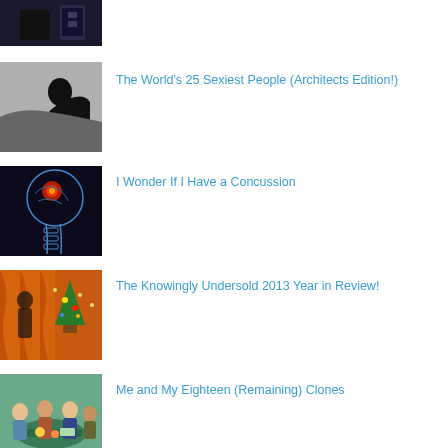[Figure (photo): Dark room interior photo, partially visible at top]
[Figure (photo): Silhouette of person in dark/black and white]
The World's 25 Sexiest People (Architects Edition!)
[Figure (photo): X-ray style image of human head with glowing red brain]
I Wonder If I Have a Concussion
[Figure (photo): Person near orange curtains and colorful items, holiday scene]
The Knowingly Undersold 2013 Year in Review!
[Figure (photo): Group of people gathered around a table]
Me and My Eighteen (Remaining) Clones
[Figure (photo): Another photo partially visible at bottom]